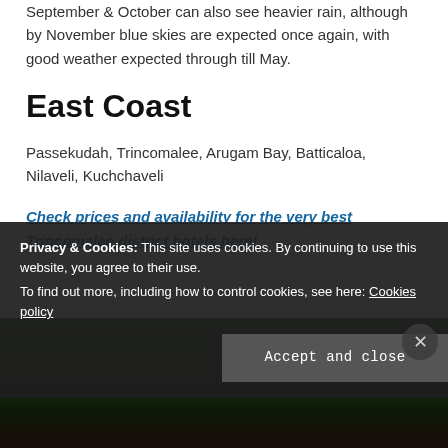September & October can also see heavier rain, although by November blue skies are expected once again, with good weather expected through till May.
East Coast
Passekudah, Trincomalee, Arugam Bay, Batticaloa, Nilaveli, Kuchchaveli
Check prices and availability for the very best Trincomalee district hotels here!
[Figure (photo): Dark photo partially visible at bottom of page, showing green foliage/tropical scene]
Privacy & Cookies: This site uses cookies. By continuing to use this website, you agree to their use. To find out more, including how to control cookies, see here: Cookies policy
Accept and close